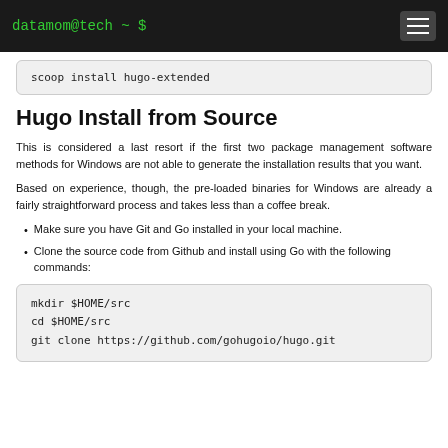datamom@tech ~ $
scoop install hugo-extended
Hugo Install from Source
This is considered a last resort if the first two package management software methods for Windows are not able to generate the installation results that you want.
Based on experience, though, the pre-loaded binaries for Windows are already a fairly straightforward process and takes less than a coffee break.
Make sure you have Git and Go installed in your local machine.
Clone the source code from Github and install using Go with the following commands:
mkdir $HOME/src
cd $HOME/src
git clone https://github.com/gohugoio/hugo.git